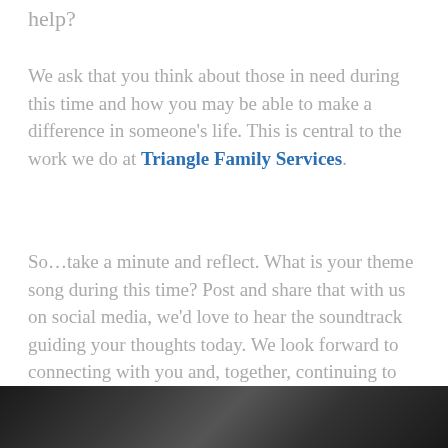help?
We ask that you think about those in need during this time and how you may be able to make a difference in someone’s life. This is central to the work we do at Triangle Family Services.
So…take a minute and reflect. What is your theme song during this time? Post and share that with us on social media, we’d love to hear the soundtrack guiding your thoughts today. We look forward to connecting with you and, together, continuing to serve as the safety net for families in crisis.
[Figure (photo): Dark/black and white photo strip at the bottom of the page]